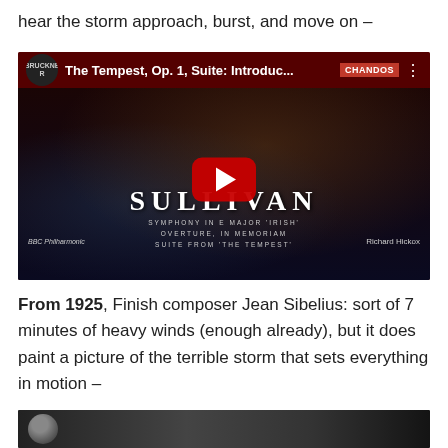hear the storm approach, burst, and move on –
[Figure (screenshot): YouTube video thumbnail for 'The Tempest, Op. 1, Suite: Introduc...' from the Chandos label, showing a Sullivan album cover with symphony in E major 'Irish', Overture, In Memoriam, Suite from 'The Tempest', conducted by Richard Hickox. Red YouTube play button in center.]
From 1925, Finish composer Jean Sibelius: sort of 7 minutes of heavy winds (enough already), but it does paint a picture of the terrible storm that sets everything in motion –
[Figure (photo): Partial bottom image showing a dark scene, partially cut off at the bottom of the page.]